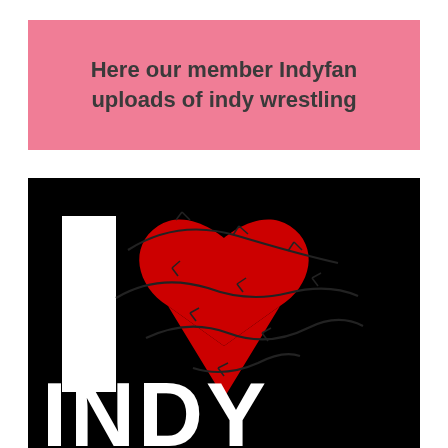Here our member Indyfan uploads of indy wrestling
[Figure (illustration): Black background image showing 'I [heart] INDY' design. A large white capital letter I on the left, a large red heart wrapped in barbed wire in the center, and the word INDY in large white bold letters at the bottom. The heart has dark barbed wire coiled around it.]